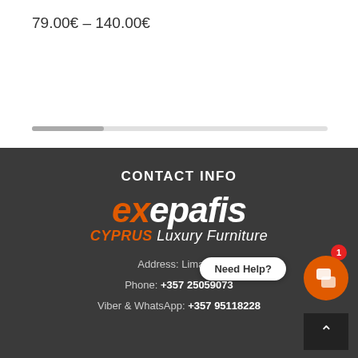79.00€ – 140.00€
CONTACT INFO
[Figure (logo): Exepafis logo with text 'exepafis' in italic bold white with orange letters, subtitle 'CYPRUS Luxury Furniture' in orange and white italic]
Address: Limasso
Phone: +357 25059073
Viber & WhatsApp: +357 95118228